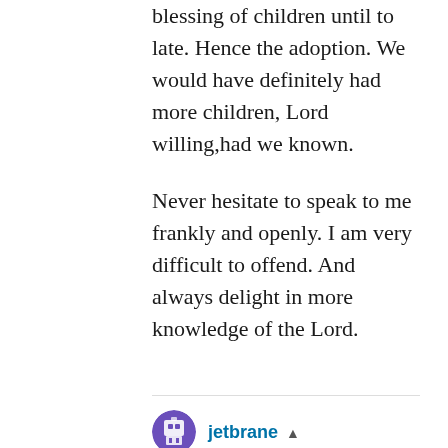blessing of children until to late. Hence the adoption. We would have definitely had more children, Lord willing,had we known.
Never hesitate to speak to me frankly and openly. I am very difficult to offend. And always delight in more knowledge of the Lord.
jetbrane ▲
January 17, 2014 at 8:45 pm

Thank you Gray for your kind response.
[Figure (illustration): Commenter avatar icon for jetbrane - pixel art style icon on purple background]
[Figure (illustration): Commenter avatar icon partially visible at bottom]